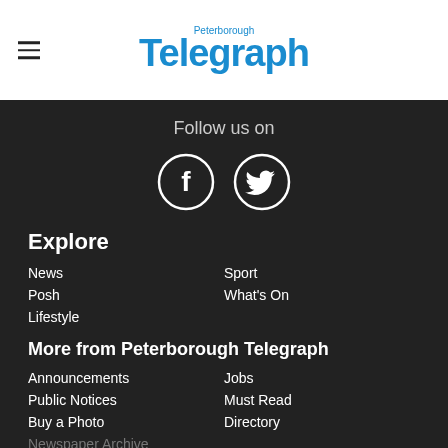Peterborough Telegraph
Follow us on
[Figure (illustration): Facebook and Twitter social media icons (circular, white on dark outline)]
Explore
News
Sport
Posh
What's On
Lifestyle
More from Peterborough Telegraph
Announcements
Jobs
Public Notices
Must Read
Buy a Photo
Directory
Newspaper Archive